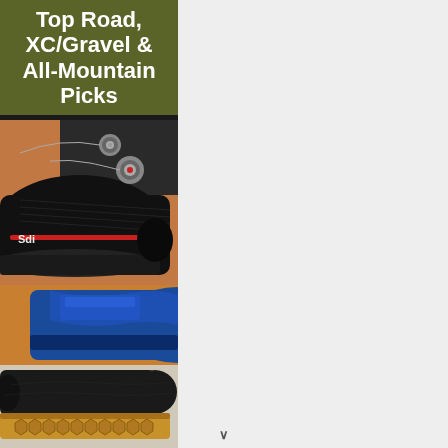Top Road, XC/Gravel & All-Mountain Picks
[Figure (photo): Close-up of a black Sidi road cycling shoe with BOA dials, shown on an orange/terra cotta surface. The shoe is black with red accents and 'Sidi' logo visible.]
[Figure (photo): Partial view of a blue mountain bike shoe, shown against a warm-toned background.]
[Figure (photo): Bottom/sole view of a black flat-pedal mountain bike shoe with honey/gum colored rubber hexagonal tread pattern.]